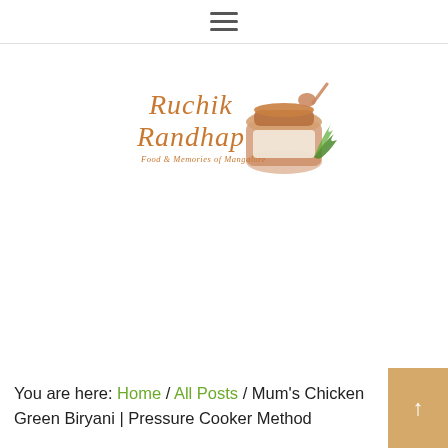☰ (hamburger menu icon)
[Figure (logo): Ruchik Randhap logo — cursive text 'Ruchik Randhap' in orange-brown script with subtitle 'Food & Memories of Mangalore', alongside a watercolor illustration of a spice jar with a spoon and green herb sprig]
You are here: Home / All Posts / Mum's Chicken Green Biryani | Pressure Cooker Method